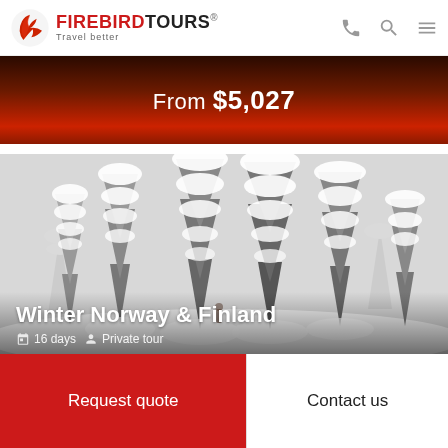[Figure (logo): Firebird Tours logo: red bird/flame icon on left, bold text FIREBIRDTOURS with registered trademark, tagline 'Travel better']
From $5,027
[Figure (photo): Winter landscape photo showing snow-covered conifer trees, heavily laden with white snow. Tour title 'Winter Norway & Finland' overlaid in white bold text. Below: '16 days' and 'Private tour' with icons.]
Winter Norway & Finland
16 days   Private tour
Request quote
Contact us